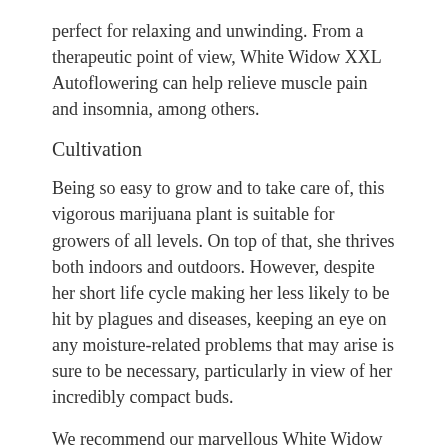perfect for relaxing and unwinding. From a therapeutic point of view, White Widow XXL Autoflowering can help relieve muscle pain and insomnia, among others.
Cultivation
Being so easy to grow and to take care of, this vigorous marijuana plant is suitable for growers of all levels. On top of that, she thrives both indoors and outdoors. However, despite her short life cycle making her less likely to be hit by plagues and diseases, keeping an eye on any moisture-related problems that may arise is sure to be necessary, particularly in view of her incredibly compact buds.
We recommend our marvellous White Widow XXL Autoflowering to all those who wish to grow indoors or on their balconies or terraces, because her moderate size and short life cycle make her the perfect strain when discretion is a priority. The fastest way to obtain quality crops without attracting unwanted attention!